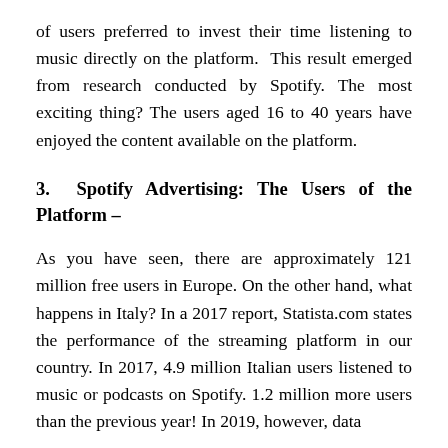of users preferred to invest their time listening to music directly on the platform. This result emerged from research conducted by Spotify. The most exciting thing? The users aged 16 to 40 years have enjoyed the content available on the platform.
3. Spotify Advertising: The Users of the Platform –
As you have seen, there are approximately 121 million free users in Europe. On the other hand, what happens in Italy? In a 2017 report, Statista.com states the performance of the streaming platform in our country. In 2017, 4.9 million Italian users listened to music or podcasts on Spotify. 1.2 million more users than the previous year! In 2019, however, data